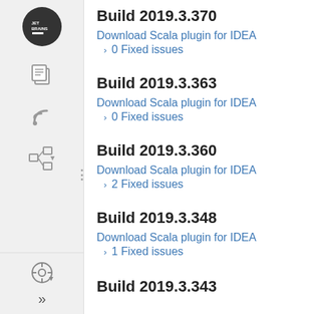Build 2019.3.370
Download Scala plugin for IDEA
> 0 Fixed issues
Build 2019.3.363
Download Scala plugin for IDEA
> 0 Fixed issues
Build 2019.3.360
Download Scala plugin for IDEA
> 2 Fixed issues
Build 2019.3.348
Download Scala plugin for IDEA
> 1 Fixed issues
Build 2019.3.343